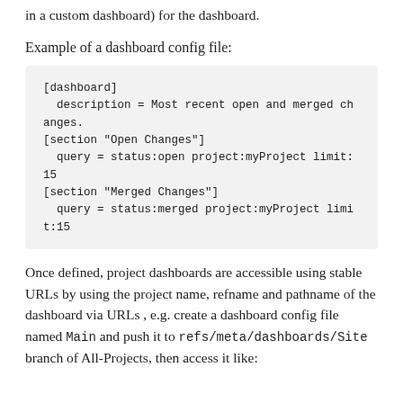in a custom dashboard) for the dashboard.
Example of a dashboard config file:
[Figure (screenshot): Code block showing a dashboard config file example with sections [dashboard], [section "Open Changes"], and [section "Merged Changes"] with queries.]
Once defined, project dashboards are accessible using stable URLs by using the project name, refname and pathname of the dashboard via URLs , e.g. create a dashboard config file named Main and push it to refs/meta/dashboards/Site branch of All-Projects, then access it like: